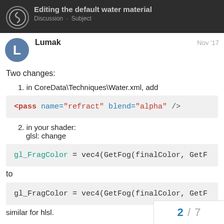Editing the default water material
Discourse · Subject
Lumak  Nov '17
Two changes:
1. in CoreData\Techniques\Water.xml, add
[Figure (screenshot): Code block: <pass name="refract" blend="alpha" />]
2. in your shader:
   glsl: change
[Figure (screenshot): Code block: gl_FragColor = vec4(GetFog(finalColor, GetF...]
to
[Figure (screenshot): Code block: gl_FragColor = vec4(GetFog(finalColor, GetF...]
similar for hlsl.
2 / 7